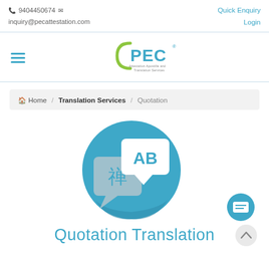📞 9404450674 ✉ inquiry@pecattestation.com | Quick Enquiry | Login
[Figure (logo): PEC logo with tagline 'Attestation Apostille and Translation Services']
Home / Translation Services / Quotation
[Figure (illustration): Blue circle with two speech bubbles: one showing 'AB' in white and one showing a Chinese character '禅' in grey, representing translation services]
Quotation Translation